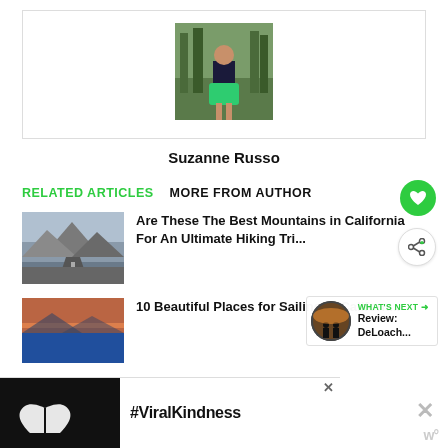[Figure (photo): Author photo of Suzanne Russo standing outdoors in a forest, wearing a black top and green skirt]
Suzanne Russo
RELATED ARTICLES
MORE FROM AUTHOR
[Figure (photo): Mountain road in California with rocky peaks in background]
Are These The Best Mountains in California For An Ultimate Hiking Tri...
[Figure (photo): Sunset silhouette of two people making a heart shape, WHAT'S NEXT - Review: DeLoach...]
[Figure (photo): Sailboat scene at sunset on water in California]
10 Beautiful Places for Sailing in Californ...
[Figure (photo): Advertisement banner showing hands making a heart shape with #ViralKindness text]